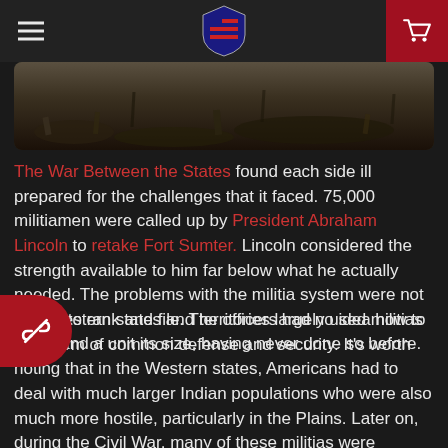[Shield logo] [Hamburger menu] [Cart icon]
[Figure (photo): Black and white historical photograph, likely Civil War era, showing debris or battlefield scene]
The War Between the States found each side ill prepared for the challenges that it faced. 75,000 militiamen were called up by President Abraham Lincoln to retake Fort Sumter. Lincoln considered the strength available to him far below what he actually needed. The problems with the militia system were not limited to rank and file. The officers had no idea how to command a unit its size, having never done so before.
The Western states and territories largely used militias as a form of common defense and security. It's worth noting that in the Western states, Americans had to deal with much larger Indian populations who were also much more hostile, particularly in the Plains. Later on, during the Civil War, many of these militias were organized into groups of Regular Army volunteers. However, in territories like Colorado and other free states, militias were organized not only to repulse invasions from Confederate forces, but also to prevent an uprising from pro-Confederate forces that might exist in the state.